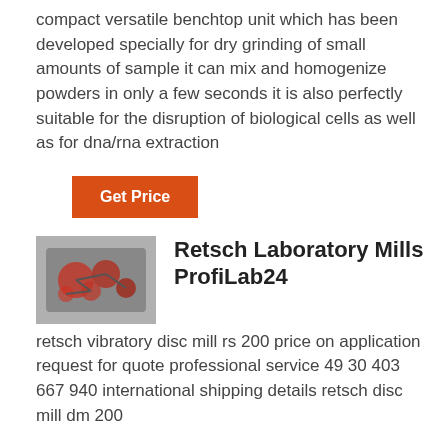compact versatile benchtop unit which has been developed specially for dry grinding of small amounts of sample it can mix and homogenize powders in only a few seconds it is also perfectly suitable for the disruption of biological cells as well as for dna/rna extraction
Get Price
[Figure (photo): Photo of red/orange colored laboratory mill parts or grinding jars]
Retsch Laboratory Mills ProfiLab24
retsch vibratory disc mill rs 200 price on application request for quote professional service 49 30 403 667 940 international shipping details retsch disc mill dm 200
Get Price